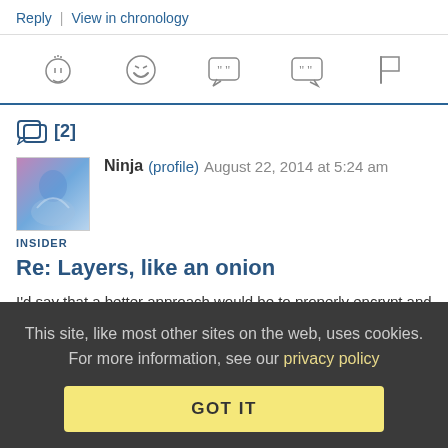Reply | View in chronology
[Figure (infographic): Row of 5 reaction/action icons: lightbulb, laughing face, speech bubble with quotes, speech bubble with quotes, flag]
[2]
[Figure (photo): User avatar image showing a stylized illustration with blue and purple tones]
Ninja (profile) August 22, 2014 at 5:24 am
INSIDER
Re: Layers, like an onion
I'd say that a better approach would be to properly encrypt and
This site, like most other sites on the web, uses cookies. For more information, see our privacy policy
GOT IT